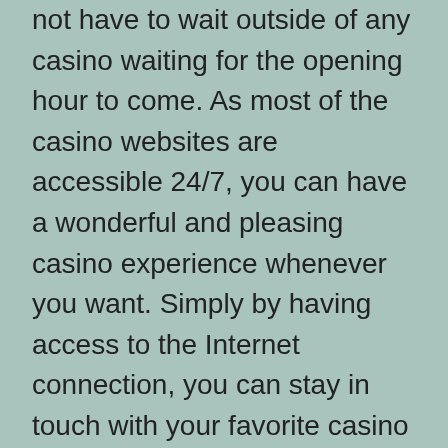not have to wait outside of any casino waiting for the opening hour to come. As most of the casino websites are accessible 24/7, you can have a wonderful and pleasing casino experience whenever you want. Simply by having access to the Internet connection, you can stay in touch with your favorite casino websites all the times. Mega888malaysia Moreover, the rewards and prizes that are offered at online casinos are no less than what traditional poker venues feature to their players. In fact, it is even possible for you to play poker at a number of casino websites at the same time even without leaving your home